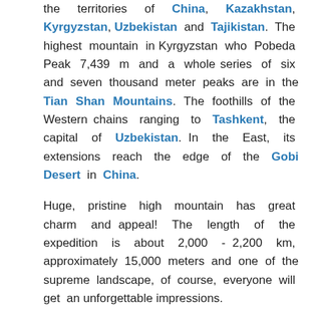the territories of China, Kazakhstan, Kyrgyzstan, Uzbekistan and Tajikistan. The highest mountain in Kyrgyzstan who Pobeda Peak 7,439 m and a whole series of six and seven thousand meter peaks are in the Tian Shan Mountains. The foothills of the Western chains ranging to Tashkent, the capital of Uzbekistan. In the East, its extensions reach the edge of the Gobi Desert in China.
Huge, pristine high mountain has great charm and appeal! The length of the expedition is about 2,000 - 2,200 km, approximately 15,000 meters and one of the supreme landscape, of course, everyone will get an unforgettable impressions.
Kyrgyzstan is a little-known trekking paradise. For individuals are also various recreational activities available: climbing, hiking, archery, swimming or horse riding unless if we are have horses.